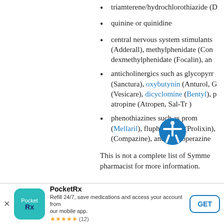triamterene/hydrochlorothiazide (D...
quinine or quinidine
central nervous system stimulants (Adderall), methylphenidate (Conc...), dexmethylphenidate (Focalin), and...
anticholinergics such as glycopyrr... (Sanctura), oxybutynin (Anturol, G...), (Vesicare), dicyclomine (Bentyl), p..., atropine (Atropen, Sal-Tr...)
phenothiazines such as c...prom... (Mellaril), fluphenazine (Prolixin), (Compazine), and trifluoperazine ...
This is not a complete list of Symme... pharmacist for more information.
[Figure (other): PocketRx app advertisement banner with app icon, name, description, star rating (12 reviews), and GET button]